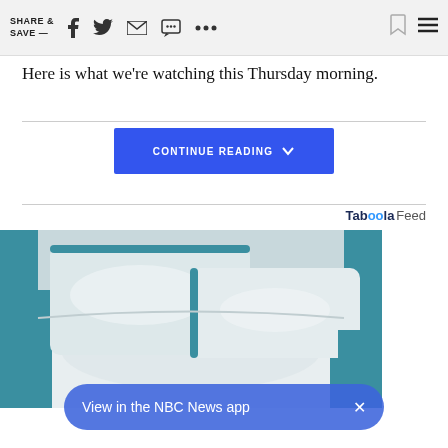SHARE & SAVE —  [social icons: facebook, twitter, email, chat, more, bookmark]  [hamburger menu]
Here is what we're watching this Thursday morning.
[Figure (screenshot): CONTINUE READING button in blue with a downward chevron icon]
Taboola Feed
[Figure (photo): Photo of white and teal-trimmed bed pillows and comforter]
View in the NBC News app